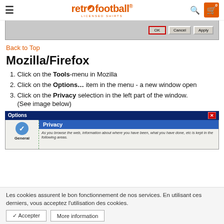retrofootball® — navigation header with logo, search and cart
[Figure (screenshot): Partial screenshot of a browser dialog showing OK, Cancel, Apply buttons]
Back to Top
Mozilla/Firefox
1. Click on the Tools-menu in Mozilla
2. Click on the Options... item in the menu - a new window open
3. Click on the Privacy selection in the left part of the window. (See image below)
[Figure (screenshot): Firefox Options dialog showing Privacy selected in left panel with General icon and description text]
Les cookies assurent le bon fonctionnement de nos services. En utilisant ces derniers, vous acceptez l'utilisation des cookies.